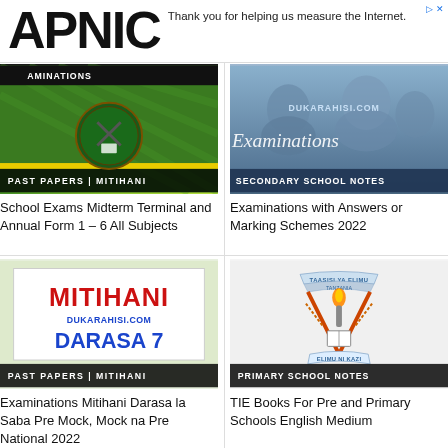[Figure (screenshot): APNIC advertisement banner with logo and text 'Thank you for helping us measure the Internet.']
[Figure (screenshot): School Exams thumbnail with NECTA logo on green background, yellow stripe, text 'PAST PAPERS | MITIHANI']
School Exams Midterm Terminal and Annual Form 1 – 6 All Subjects
[Figure (screenshot): Examinations thumbnail with students studying, overlay text 'DUKARAHISI.COM Examinations SECONDARY SCHOOL NOTES']
Examinations with Answers or Marking Schemes 2022
[Figure (screenshot): Mitihani thumbnail with light green background, white box showing 'MITIHANI' in red, 'DUKARAHISI.COM' in blue, 'DARASA 7' in blue, badge 'PAST PAPERS | MITIHANI']
Examinations Mitihani Darasa la Saba Pre Mock, Mock na Pre National 2022
[Figure (screenshot): TIE logo on grey background showing torch emblem with 'TAASISI YA ELIMU TANZANIA' and 'ELIMU NI KAZI', badge 'PRIMARY SCHOOL NOTES']
TIE Books For Pre and Primary Schools English Medium